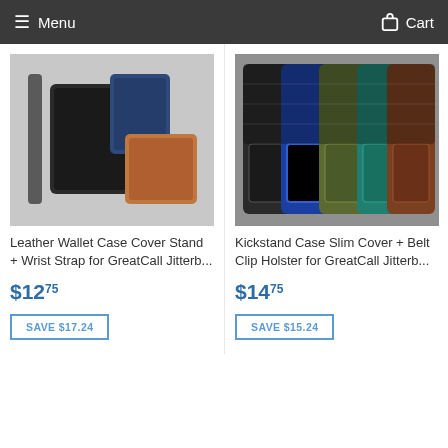Menu  Cart
[Figure (photo): Leather wallet phone cases in black, navy, and tan/brown colors with wrist strap]
Leather Wallet Case Cover Stand + Wrist Strap for GreatCall Jitterb...
$12.75
SAVE $17.24
[Figure (photo): Kickstand phone cases in multiple colors: black, blue, olive, teal, brown]
Kickstand Case Slim Cover + Belt Clip Holster for GreatCall Jitterb...
$14.75
SAVE $15.24